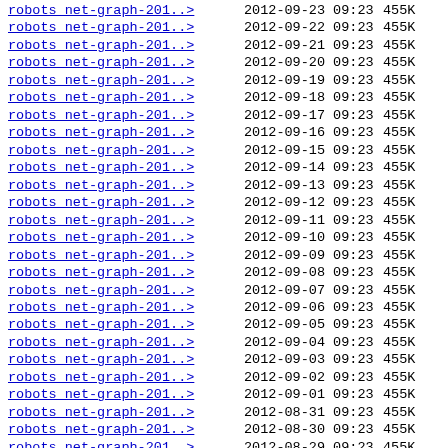| Name | Date | Time | Size |
| --- | --- | --- | --- |
| robots net-graph-201..> | 2012-09-23 | 09:23 | 455K |
| robots net-graph-201..> | 2012-09-22 | 09:23 | 455K |
| robots net-graph-201..> | 2012-09-21 | 09:23 | 455K |
| robots net-graph-201..> | 2012-09-20 | 09:23 | 455K |
| robots net-graph-201..> | 2012-09-19 | 09:23 | 455K |
| robots net-graph-201..> | 2012-09-18 | 09:23 | 455K |
| robots net-graph-201..> | 2012-09-17 | 09:23 | 455K |
| robots net-graph-201..> | 2012-09-16 | 09:23 | 455K |
| robots net-graph-201..> | 2012-09-15 | 09:23 | 455K |
| robots net-graph-201..> | 2012-09-14 | 09:23 | 455K |
| robots net-graph-201..> | 2012-09-13 | 09:23 | 455K |
| robots net-graph-201..> | 2012-09-12 | 09:23 | 455K |
| robots net-graph-201..> | 2012-09-11 | 09:23 | 455K |
| robots net-graph-201..> | 2012-09-10 | 09:23 | 455K |
| robots net-graph-201..> | 2012-09-09 | 09:23 | 455K |
| robots net-graph-201..> | 2012-09-08 | 09:23 | 455K |
| robots net-graph-201..> | 2012-09-07 | 09:23 | 455K |
| robots net-graph-201..> | 2012-09-06 | 09:23 | 455K |
| robots net-graph-201..> | 2012-09-05 | 09:23 | 455K |
| robots net-graph-201..> | 2012-09-04 | 09:23 | 455K |
| robots net-graph-201..> | 2012-09-03 | 09:23 | 455K |
| robots net-graph-201..> | 2012-09-02 | 09:23 | 455K |
| robots net-graph-201..> | 2012-09-01 | 09:23 | 455K |
| robots net-graph-201..> | 2012-08-31 | 09:23 | 455K |
| robots net-graph-201..> | 2012-08-30 | 09:23 | 455K |
| robots net-graph-201..> | 2012-08-29 | 09:23 | 455K |
| robots net-graph-201..> | 2012-08-27 | 09:23 | 455K |
| robots net-graph-201..> | 2012-08-26 | 09:23 | 455K |
| robots net-graph-201..> | 2012-08-25 | 09:23 | 455K |
| robots net-graph-201 .> | 2012-08-24 | 09:23 | 455K |